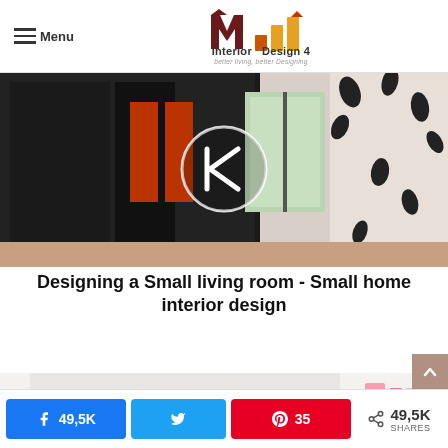Interior Design 4 - better living, better Designing
[Figure (photo): Interior room photo showing a stylish small living room with black patterned wallpaper, red accents, a TV and windows, with a circular left-arrow navigation overlay]
Designing a Small living room - Small home interior design
[Figure (photo): Interior bedroom photo showing a white room with pink mirror, curtains, and shelving with small decorative items, with a circular right-arrow navigation overlay]
49,5K shares (Facebook 49,5K, Twitter, Pinterest 35)